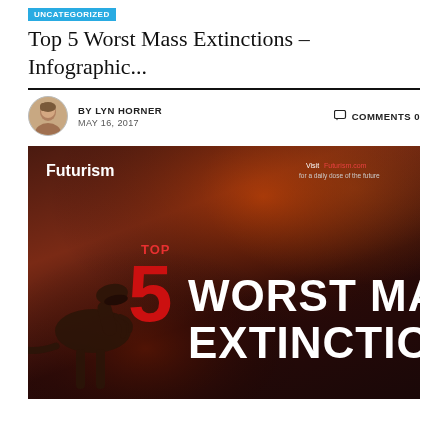UNCATEGORIZED
Top 5 Worst Mass Extinctions – Infographic...
BY LYN HORNER
MAY 16, 2017
COMMENTS 0
[Figure (infographic): Futurism infographic titled 'TOP 5 WORST MASS EXTINCTIONS' with dark reddish-brown background showing dinosaur skeleton silhouette, large red numeral 5, and white bold text. Visit Futurism.com for a daily dose of the future.]